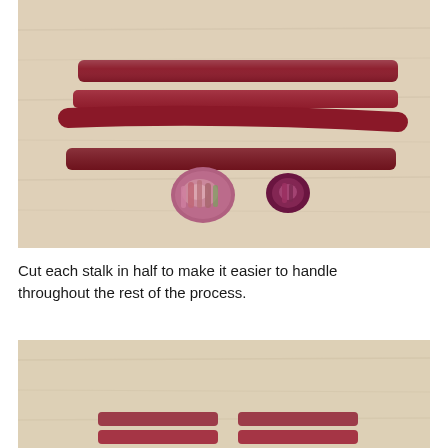[Figure (photo): Photo of rhubarb stalks cut in half laid on a light wood surface. Three long dark red stalks are arranged horizontally. Below them are two cut ends of the stalks showing the cross-sections with pink and green coloring.]
Cut each stalk in half to make it easier to handle throughout the rest of the process.
[Figure (photo): Partial photo showing the top portion of another step — cut rhubarb stalks on a light wood surface, visible at the bottom of the image.]